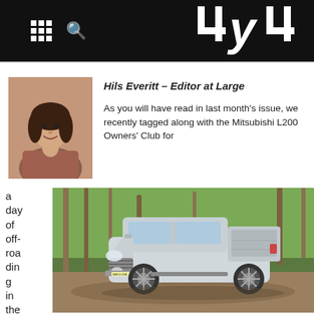4x4 Magazine Header with grid and search icons
Hils Everitt – Editor at Large
As you will have read in last month's issue, we recently tagged along with the Mitsubishi L200 Owners' Club for a day of off-roading in the pictures
[Figure (photo): Silver Mitsubishi L200 pickup truck on a dirt forest track surrounded by green trees, registration WR11 CXE]